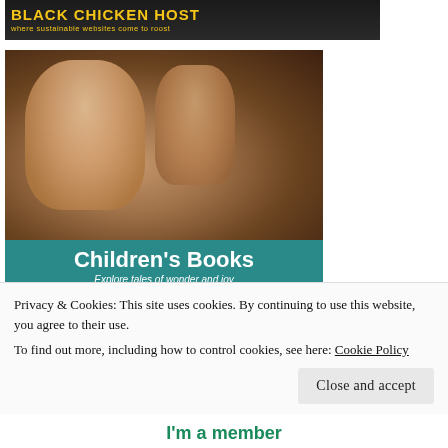[Figure (illustration): Black Chicken Host banner — black background with yellow bold text 'Black Chicken Host' and subtitle 'where sustainable websites come to roost']
[Figure (illustration): ThriftBooks Children's Books advertisement showing a woman and child reading together, with teal background panel reading 'Children's Books – Explore tales of wonder and joy', ThriftBooks logo, and yellow 'SHOP NOW' button]
Privacy & Cookies: This site uses cookies. By continuing to use this website, you agree to their use.
To find out more, including how to control cookies, see here: Cookie Policy
Close and accept
I'm a member